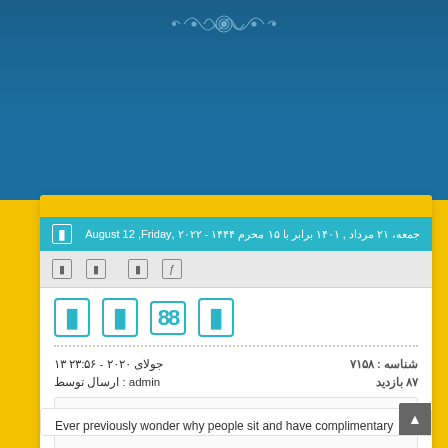[Figure (illustration): Decorative ornament at the top of the page on a dark blue background]
جمعه، ۲۱ مرداد , ۱۴۰۱ برابر با ۱۵ محرم ۱۴۴۴ - ۲۰۲۲ ,August 12 ,Friday
شناسه : ۷۱۵۸
۸۷ بازدید
۱۳ جولای ۲۰۲۰ - ۲۳:۵۶
ارسال توسط : admin
Abcarticledirectory.com
Ever previously wonder why people sit and have complimentary